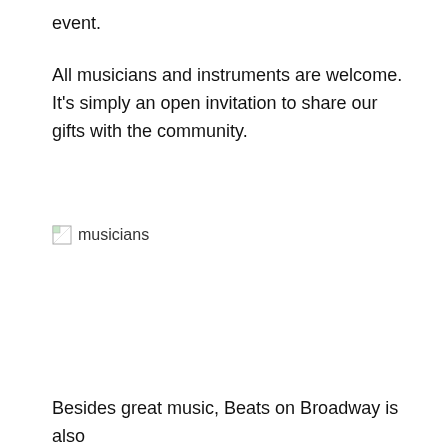event.
All musicians and instruments are welcome. It's simply an open invitation to share our gifts with the community.
[Figure (photo): Broken image placeholder with alt text 'musicians']
Besides great music, Beats on Broadway is also